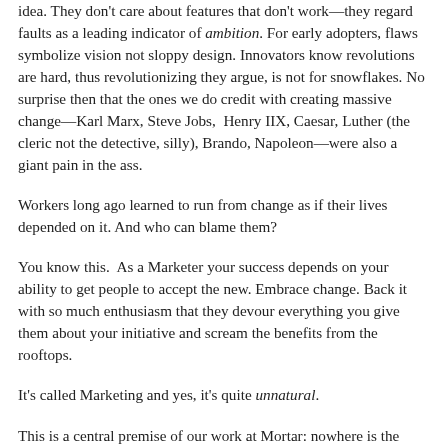idea. They don't care about features that don't work—they regard faults as a leading indicator of ambition. For early adopters, flaws symbolize vision not sloppy design. Innovators know revolutions are hard, thus revolutionizing they argue, is not for snowflakes. No surprise then that the ones we do credit with creating massive change—Karl Marx, Steve Jobs, Henry IIX, Caesar, Luther (the cleric not the detective, silly), Brando, Napoleon—were also a giant pain in the ass.
Workers long ago learned to run from change as if their lives depended on it. And who can blame them?
You know this.  As a Marketer your success depends on your ability to get people to accept the new. Embrace change. Back it with so much enthusiasm that they devour everything you give them about your initiative and scream the benefits from the rooftops.
It's called Marketing and yes, it's quite unnatural.
This is a central premise of our work at Mortar: nowhere is the...